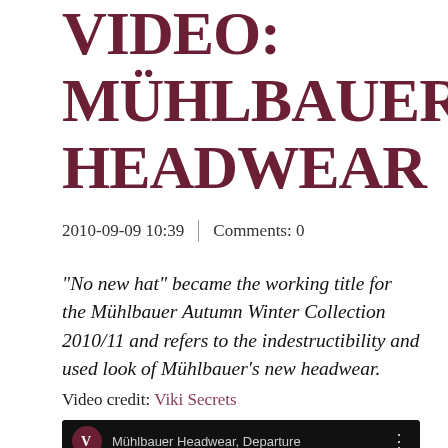VIDEO: MÜHLBAUER HEADWEAR
2010-09-09 10:39  |  Comments: 0
"No new hat" became the working title for the Mühlbauer Autumn Winter Collection 2010/11 and refers to the indestructibility and used look of Mühlbauer's new headwear.
Video credit: Viki Secrets
[Figure (screenshot): YouTube-style video thumbnail showing the beginning of a Mühlbauer Headwear Departure video with a circular V logo on black background]